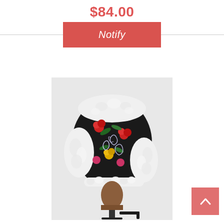$84.00
[Figure (other): Red 'Notify' button with white italic text on a salmon/red background]
[Figure (photo): A winter trapper hat with black fabric featuring colorful floral and paisley embroidery pattern, with white fur trim around the ear flaps and brim, displayed on a mannequin head stand with a black metal support]
[Figure (other): Back-to-top button: salmon/red square with white upward chevron arrow]